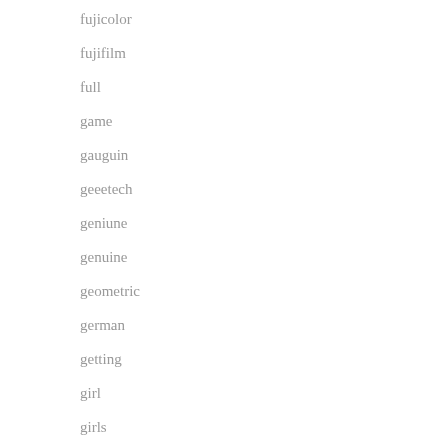fujicolor
fujifilm
full
game
gauguin
geeetech
geniune
genuine
geometric
german
getting
girl
girls
godzilla